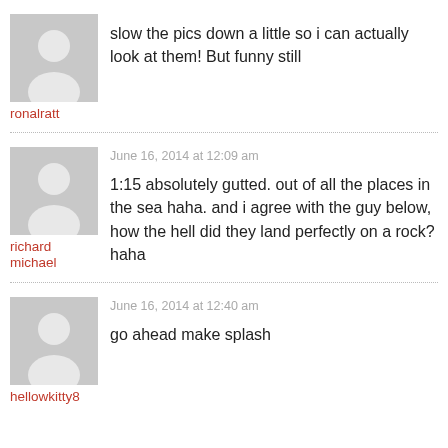slow the pics down a little so i can actually look at them! But funny still
ronalratt
June 16, 2014 at 12:09 am
1:15 absolutely gutted. out of all the places in the sea haha. and i agree with the guy below, how the hell did they land perfectly on a rock? haha
richard michael
June 16, 2014 at 12:40 am
go ahead make splash
hellowkitty8